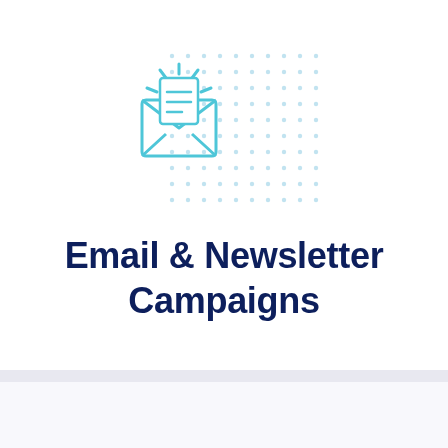[Figure (illustration): An open envelope icon with a letter/document inside, showing radiating lines at top suggesting notification or alert, drawn in light blue/cyan outline style. Behind and to the right is a decorative dot grid pattern in light blue.]
Email & Newsletter Campaigns